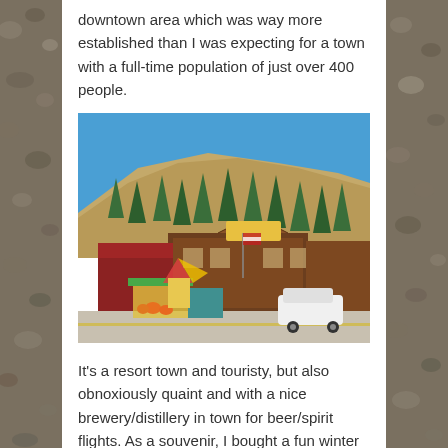downtown area which was way more established than I was expecting for a town with a full-time population of just over 400 people.
[Figure (photo): Photo of a rustic Western-style wooden building complex (Old Town) with shops and a market stall in the foreground, backed by a steep forested hillside under a clear blue sky. A white SUV is parked in front.]
It's a resort town and touristy, but also obnoxiously quaint and with a nice brewery/distillery in town for beer/spirit flights. As a souvenir, I bought a fun winter hat from a local shop, although it's been around 80 degrees back at